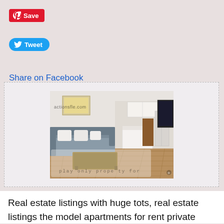[Figure (screenshot): Pinterest Save button - red rounded rectangle with Pinterest logo and 'Save' text]
[Figure (screenshot): Twitter Tweet button - blue pill-shaped button with Twitter bird logo and 'Tweet' text]
Share on Facebook
[Figure (photo): Interior photo of a modern apartment living room with a gray sofa, white kitchen in the background, and hardwood floors. Watermark text 'actionsfle.com' at top left and 'play only prope ty for' at bottom center.]
Real estate listings with huge tots, real estate listings the model apartments for rent private